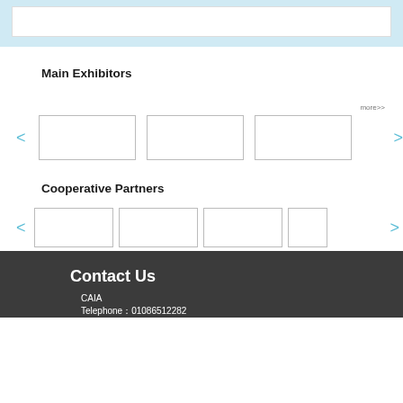Main Exhibitors
more>>
[Figure (other): Carousel of main exhibitor logos with left and right navigation arrows and three empty logo placeholder boxes]
Cooperative Partners
[Figure (other): Carousel of cooperative partner logos with left and right navigation arrows and four empty logo placeholder boxes]
Contact Us
CAIA
Telephone：01086512282